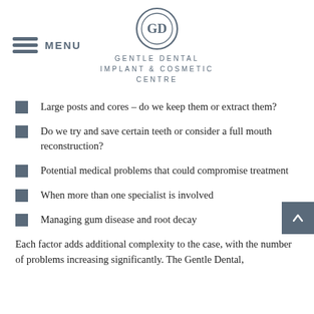MENU | GENTLE DENTAL IMPLANT & COSMETIC CENTRE
Large posts and cores – do we keep them or extract them?
Do we try and save certain teeth or consider a full mouth reconstruction?
Potential medical problems that could compromise treatment
When more than one specialist is involved
Managing gum disease and root decay
Each factor adds additional complexity to the case, with the number of problems increasing significantly. The Gentle Dental,